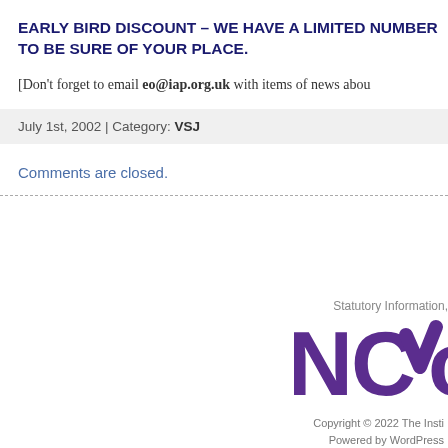EARLY BIRD DISCOUNT – WE HAVE A LIMITED NUMBER TO BE SURE OF YOUR PLACE.
[Don't forget to email eo@iap.org.uk with items of news abou
July 1st, 2002 | Category: VSJ
Comments are closed.
Statutory Information,
[Figure (logo): NCVO logo in purple]
Copyright © 2022 The Insti
Powered by WordPress